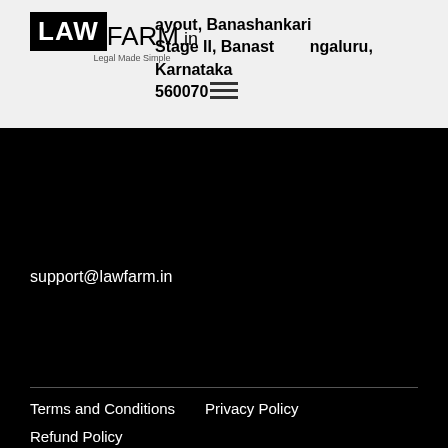[Figure (logo): LawFarm.in logo with 'Legal Made Simple' tagline]
ayout, Banashankari Stage II, Banashankari, Bengaluru, Karnataka 560070
support@lawfarm.in
Terms and Conditions    Privacy Policy
Refund Policy
© 2022 Lawfarm
[Figure (infographic): Social media icons: Facebook, YouTube, LinkedIn, Instagram]